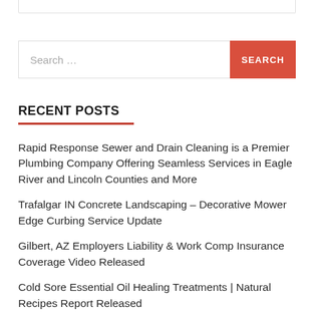RECENT POSTS
Rapid Response Sewer and Drain Cleaning is a Premier Plumbing Company Offering Seamless Services in Eagle River and Lincoln Counties and More
Trafalgar IN Concrete Landscaping – Decorative Mower Edge Curbing Service Update
Gilbert, AZ Employers Liability & Work Comp Insurance Coverage Video Released
Cold Sore Essential Oil Healing Treatments | Natural Recipes Report Released